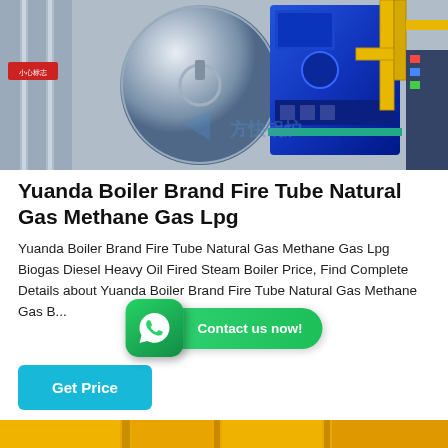[Figure (photo): Industrial boiler room showing large silver cylindrical tank on left, blue heavy machinery/boiler in center-right, yellow pipes on right side, red label sign on left. Chinese watermark text '方快锅炉' visible at bottom right.]
Yuanda Boiler Brand Fire Tube Natural Gas Methane Gas Lpg
Yuanda Boiler Brand Fire Tube Natural Gas Methane Gas Lpg Biogas Diesel Heavy Oil Fired Steam Boiler Price, Find Complete Details about Yuanda Boiler Brand Fire Tube Natural Gas Methane Gas B...
[Figure (other): WhatsApp icon button with green background and phone icon, alongside a green 'Contact us now!' button]
Get Price
[Figure (photo): Partial view of industrial equipment with yellow/orange coloring at bottom of page]